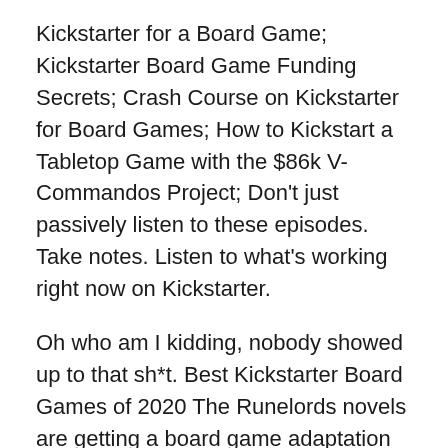Kickstarter for a Board Game; Kickstarter Board Game Funding Secrets; Crash Course on Kickstarter for Board Games; How to Kickstart a Tabletop Game with the $86k V-Commandos Project; Don't just passively listen to these episodes. Take notes. Listen to what's working right now on Kickstarter.
Oh who am I kidding, nobody showed up to that sh*t. Best Kickstarter Board Games of 2020 The Runelords novels are getting a board game adaptation launching on Kickstarter as soon as February 2020. The Runelords board game merges few different genres: from deck building card games to wargames. Players start by recruiting soldiers and mercenaries to their armies. Academy Games is raising funds for Stellaris Infinite Legacy on